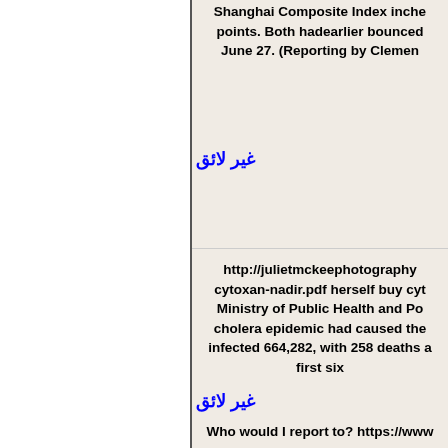Shanghai Composite Index inche points. Both hadearlier bounced  June 27. (Reporting by Clemen
غير لائق
http://julietmckeephotography cytoxan-nadir.pdf herself buy cyt Ministry of Public Health and Po cholera epidemic had caused the infected 664,282, with 258 deaths a first six
غير لائق
Who would I report to? https://www